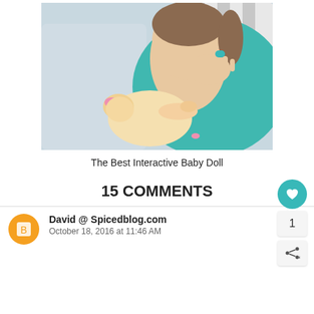[Figure (photo): A young girl with brown hair pulled back, wearing a teal/turquoise outfit, holding and looking at a baby doll with a pink headband dressed in yellow, set against a light gray background.]
The Best Interactive Baby Doll
15 COMMENTS
David @ Spicedblog.com
October 18, 2016 at 11:46 AM